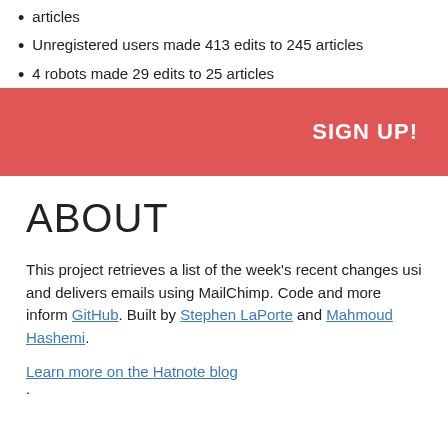articles
Unregistered users made 413 edits to 245 articles
4 robots made 29 edits to 25 articles
[Figure (infographic): Red signup banner with bold white text SIGN UP!]
ABOUT
This project retrieves a list of the week's recent changes using and delivers emails using MailChimp. Code and more inform GitHub. Built by Stephen LaPorte and Mahmoud Hashemi.
Learn more on the Hatnote blog.